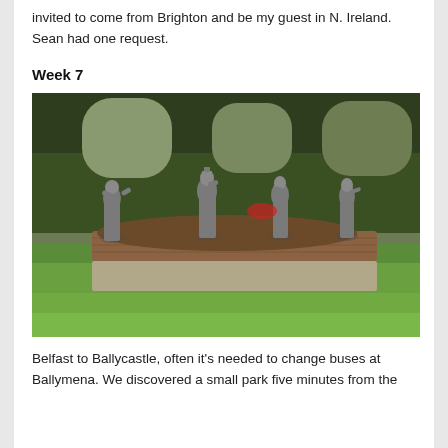invited to come from Brighton and be my guest in N. Ireland. Sean had one request.
Week 7
[Figure (photo): A garden park scene with four stone/grey statues of human figures standing on a raised curved brick-bordered flower bed. The background shows green lawn, trees, and a brick wall. The foreground is green grass.]
Belfast to Ballycastle, often it's needed to change buses at Ballymena. We discovered a small park five minutes from the station with the most beautiful Four Seasons statues...